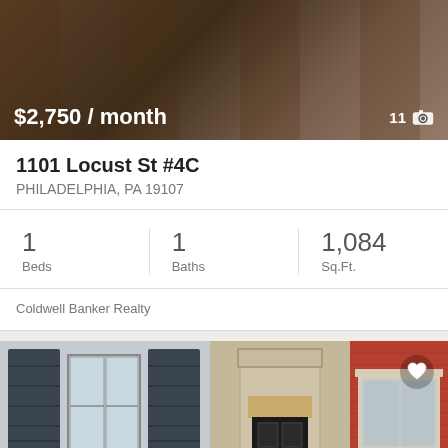[Figure (photo): Interior kitchen/room photo used as listing banner background]
$2,750 / month
11 📷
1101 Locust St #4C
PHILADELPHIA, PA 19107
1
Beds
1
Baths
1,084
Sq.Ft.
Coldwell Banker Realty
[Figure (photo): Street view of Philadelphia row houses with dark shutters on left, ornate doorway in center, red brick building with red door on right. Accessibility icon in bottom left, heart icon in top right.]